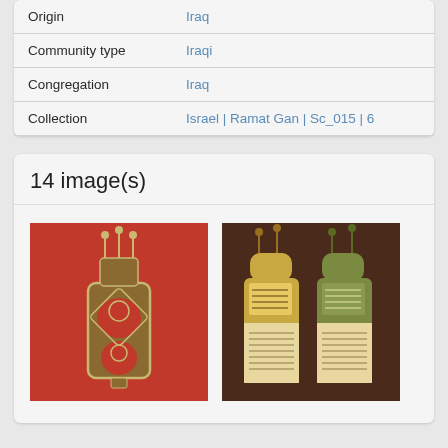| Field | Value |
| --- | --- |
| Origin | Iraq |
| Community type | Iraqi |
| Congregation | Iraq |
| Collection | Israel | Ramat Gan | Sc_015 | 6 |
14 image(s)
[Figure (photo): Photo of a Torah scroll case (tik) with ornate red and silver metalwork decoration, against a red background]
[Figure (photo): Photo of an open Torah scroll case showing two scrolls with ornamental crowns (rimonim), displayed open on a dark background]